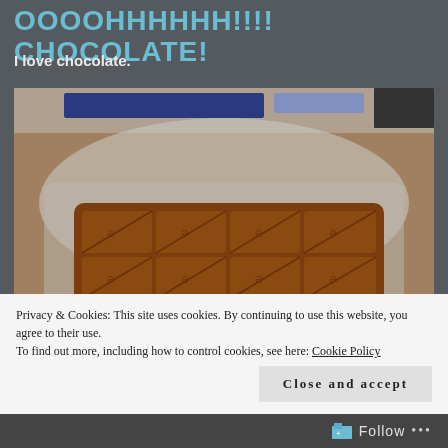OOOOHHHHHH!!!! CHOCOLATE!
I love chocolate.
[Figure (photo): A large milk chocolate bar with triangular scored segments and swirl logos, partially unwrapped from silver foil, placed on a desk with a keyboard and monitor visible in the background.]
Privacy & Cookies: This site uses cookies. By continuing to use this website, you agree to their use.
To find out more, including how to control cookies, see here: Cookie Policy
Close and accept
Follow